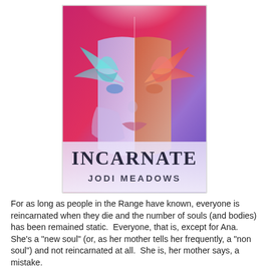[Figure (illustration): Book cover for 'Incarnate' by Jodi Meadows. Shows a woman's face split into two halves — left side with blue/purple butterfly wing over cheek, right side with red/orange butterfly wing. Background is vivid red and purple gradient. Title 'INCARNATE' in large serif font, author name 'JODI MEADOWS' below in smaller caps.]
For as long as people in the Range have known, everyone is reincarnated when they die and the number of souls (and bodies) has been remained static.  Everyone, that is, except for Ana.  She's a "new soul" (or, as her mother tells her frequently, a "non soul") and not reincarnated at all.  She is, her mother says, a mistake.